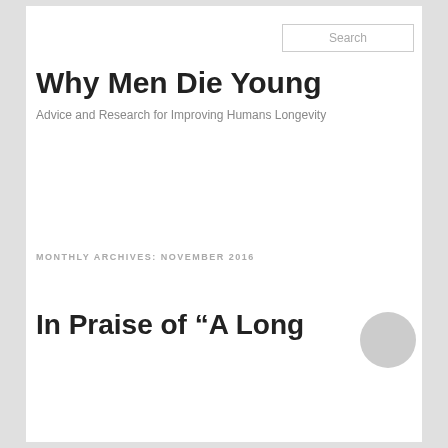Search
Why Men Die Young
Advice and Research for Improving Humans Longevity
MONTHLY ARCHIVES: NOVEMBER 2016
In Praise of “A Long